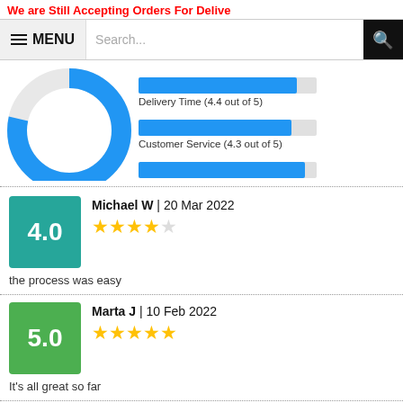We are Still Accepting Orders For Delive
[Figure (donut-chart): Partial donut/ring chart visible, blue ring on white/light background, cropped]
[Figure (bar-chart): Rating bars]
Michael W | 20 Mar 2022
4.0
the process was easy
Marta J | 10 Feb 2022
5.0
It's all great so far